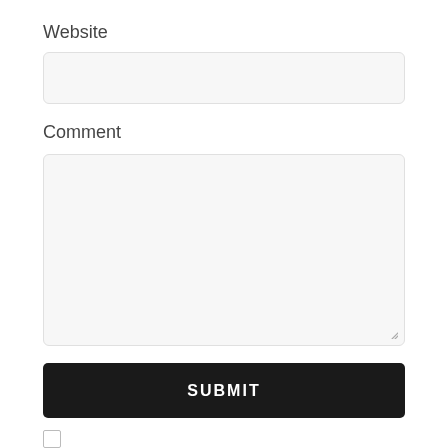Website
[Figure (other): Empty text input field for Website URL]
Comment
[Figure (other): Empty textarea for Comment with resize handle]
SUBMIT
[Figure (other): Checkbox (unchecked)]